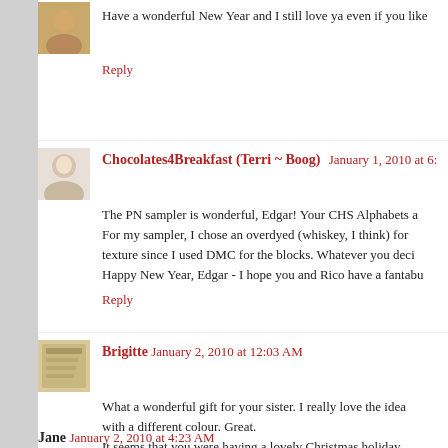Have a wonderful New Year and I still love ya even if you like
Reply
Chocolates4Breakfast (Terri ~ Boog) January 1, 2010 at 6:
The PN sampler is wonderful, Edgar! Your CHS Alphabets a For my sampler, I chose an overdyed (whiskey, I think) for texture since I used DMC for the blocks. Whatever you deci Happy New Year, Edgar - I hope you and Rico have a fantabu
Reply
Brigitte January 2, 2010 at 12:03 AM
What a wonderful gift for your sister. I really love the idea with a different colour. Great.
It seems that you were having a lovely Christmas holiday.
Happy New Year!
Reply
Jane January 2, 2010 at 4:23 AM